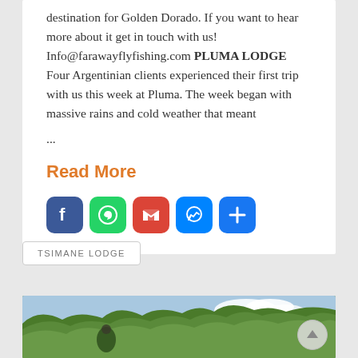destination for Golden Dorado. If you want to hear more about it get in touch with us! Info@farawayflyfishing.com PLUMA LODGE Four Argentinian clients experienced their first trip with us this week at Pluma. The week began with massive rains and cold weather that meant
...
Read More
[Figure (other): Social sharing icons: Facebook (blue), WhatsApp (green), Gmail (red), Messenger (blue), More (blue plus sign)]
TSIMANE LODGE
[Figure (photo): Outdoor photo showing lush green tropical forest and blue sky with clouds, with a person visible]